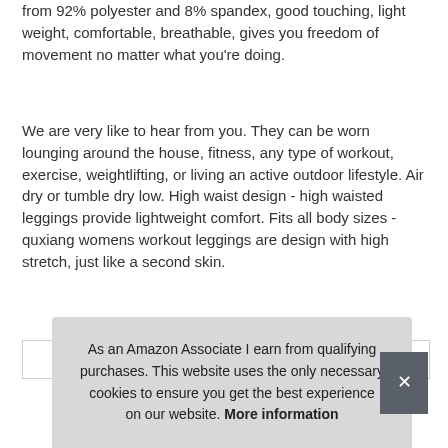from 92% polyester and 8% spandex, good touching, light weight, comfortable, breathable, gives you freedom of movement no matter what you're doing.
We are very like to hear from you. They can be worn lounging around the house, fitness, any type of workout, exercise, weightlifting, or living an active outdoor lifestyle. Air dry or tumble dry low. High waist design - high waisted leggings provide lightweight comfort. Fits all body sizes - quxiang womens workout leggings are design with high stretch, just like a second skin.
| Brand | QUXIANG #ad |
| --- | --- |
As an Amazon Associate I earn from qualifying purchases. This website uses the only necessary cookies to ensure you get the best experience on our website. More information